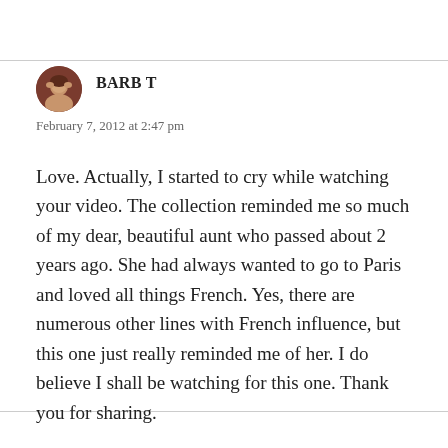[Figure (photo): Circular avatar photo of user Barb T, showing a person with brown tones]
BARB T
February 7, 2012 at 2:47 pm
Love. Actually, I started to cry while watching your video. The collection reminded me so much of my dear, beautiful aunt who passed about 2 years ago. She had always wanted to go to Paris and loved all things French. Yes, there are numerous other lines with French influence, but this one just really reminded me of her. I do believe I shall be watching for this one. Thank you for sharing.